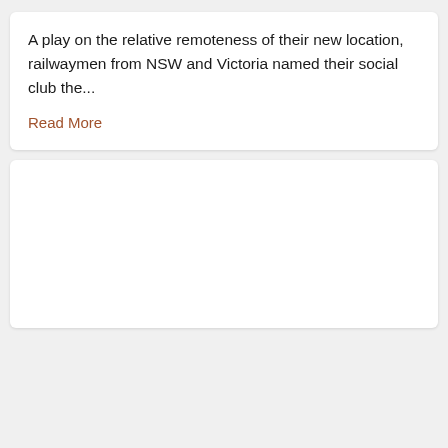A play on the relative remoteness of their new location, railwaymen from NSW and Victoria named their social club the...
Read More